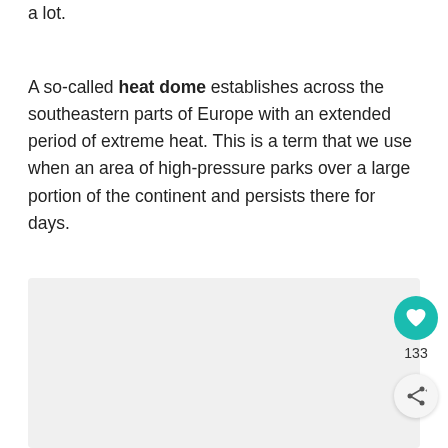a lot.
A so-called heat dome establishes across the southeastern parts of Europe with an extended period of extreme heat. This is a term that we use when an area of high-pressure parks over a large portion of the continent and persists there for days.
[Figure (other): Gray placeholder image block at the bottom of the page, with a teal heart/like button showing 133 likes and a share button overlaid on the right side.]